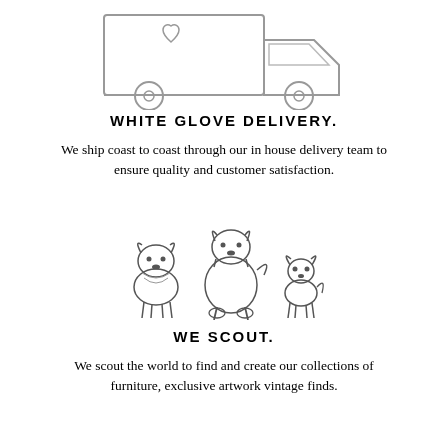[Figure (illustration): Line drawing of a delivery truck (partial, top cropped), showing the truck body, cab, and two wheels in outline style]
WHITE GLOVE DELIVERY.
We ship coast to coast through our in house delivery team to ensure quality and customer satisfaction.
[Figure (illustration): Line drawings of three dogs: a medium fluffy dog (schnauzer-like) on the left, a large sitting dog in the center, and a small chihuahua-like dog on the right]
WE SCOUT.
We scout the world to find and create our collections of furniture, exclusive artwork vintage finds.